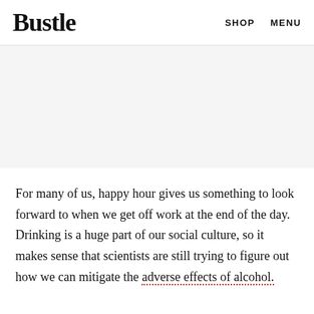Bustle  SHOP  MENU
[Figure (other): Advertisement placeholder area, light gray background]
For many of us, happy hour gives us something to look forward to when we get off work at the end of the day. Drinking is a huge part of our social culture, so it makes sense that scientists are still trying to figure out how we can mitigate the adverse effects of alcohol.